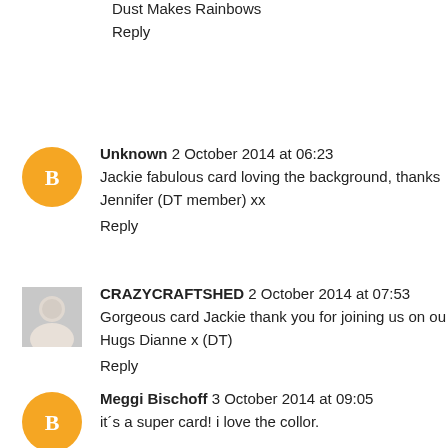Dust Makes Rainbows
Reply
Unknown 2 October 2014 at 06:23
Jackie fabulous card loving the background, thanks Jennifer (DT member) xx
Reply
CRAZYCRAFTSHED 2 October 2014 at 07:53
Gorgeous card Jackie thank you for joining us on our Hugs Dianne x (DT)
Reply
Meggi Bischoff 3 October 2014 at 09:05
it´s a super card! i love the collor.